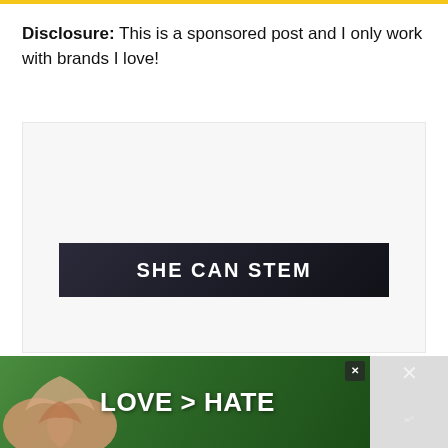Disclosure: This is a sponsored post and I only work with brands I love!
[Figure (illustration): A large light gray image placeholder area containing a 'SHE CAN STEM' banner on a dark nearly-black background with white bold text]
[Figure (photo): Advertisement banner at bottom: green background with hands forming a heart shape, text 'LOVE > HATE' in white bold letters, close button, and wordmark]